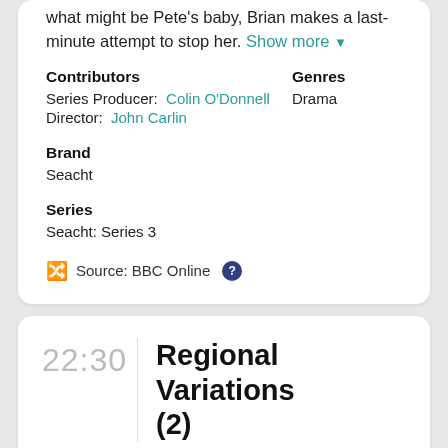what might be Pete's baby, Brian makes a last-minute attempt to stop her. Show more ▾
Contributors
Genres
Series Producer: Colin O'Donnell
Drama
Director: John Carlin
Brand
Seacht
Series
Seacht: Series 3
Source: BBC Online
22:30
Regional Variations (2)